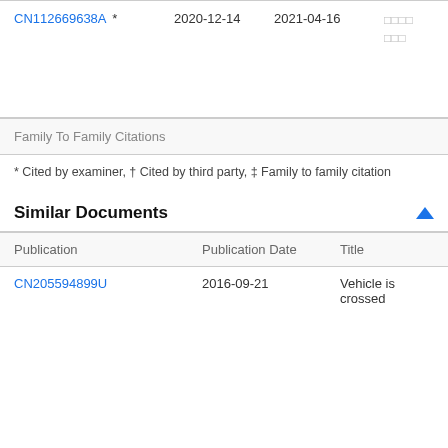| Publication | Publication Date | Publication Date | Inventors |
| --- | --- | --- | --- |
| CN112669638A * | 2020-12-14 | 2021-04-16 | □□□□ □□□ |
Family To Family Citations
* Cited by examiner, † Cited by third party, ‡ Family to family citation
Similar Documents
| Publication | Publication Date | Title |
| --- | --- | --- |
| CN205594899U | 2016-09-21 | Vehicle is crossed |